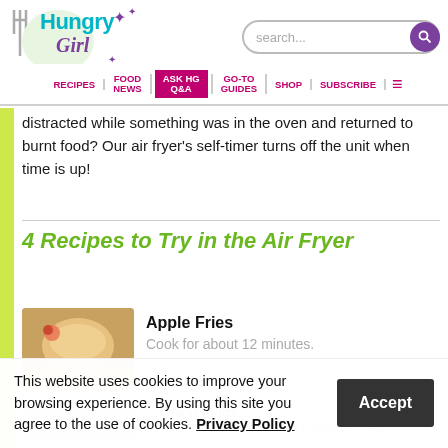Hungry Girl — navigation header with search, RECIPES | FOOD NEWS | ASK HG Q&A | GO-TO GUIDES | SHOP | SUBSCRIBE
distracted while something was in the oven and returned to burnt food? Our air fryer's self-timer turns off the unit when time is up!
4 Recipes to Try in the Air Fryer
[Figure (photo): Thumbnail photo of Apple Fries dish]
Apple Fries
Cook for about 12 minutes.
This website uses cookies to improve your browsing experience. By using this site you agree to the use of cookies. Privacy Policy
Onion Rings — Cook in 2 batches, 12 - 15 minutes each.